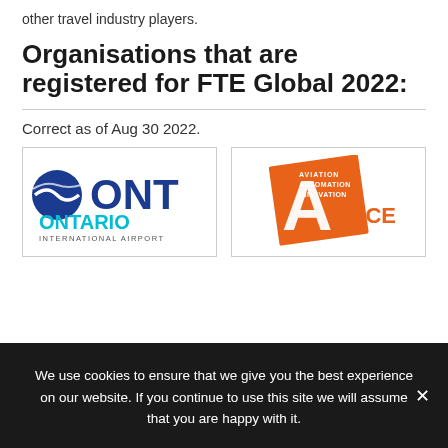other travel industry players.
Organisations that are registered for FTE Global 2022:
Correct as of Aug 30 2022.
[Figure (logo): Ontario International Airport logo — blue circle globe icon with white swoosh, large blue bold 'ONT' text, cyan 'ONTARIO' text, small caps 'INTERNATIONAL AIRPORT']
[Figure (logo): Aviation A-ICE logo — orange square tilted, large white 'A' with text 'AVIATION' above in orange/white stacked text, '-ICE' in orange text to the right]
We use cookies to ensure that we give you the best experience on our website. If you continue to use this site we will assume that you are happy with it.